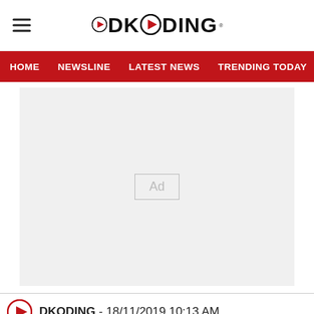DKODING
HOME  NEWSLINE  LATEST NEWS  TRENDING TODAY  ENT
[Figure (other): Advertisement placeholder box with 'Ad' label centered in a light gray rectangle]
DKODING - 18/11/2019 10:13 AM